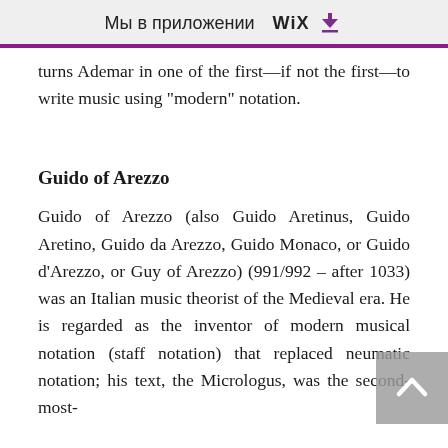Мы в приложении WiX ⬇
turns Ademar in one of the first—if not the first—to write music using "modern" notation.
Guido of Arezzo
Guido of Arezzo (also Guido Aretinus, Guido Aretino, Guido da Arezzo, Guido Monaco, or Guido d'Arezzo, or Guy of Arezzo) (991/992 – after 1033) was an Italian music theorist of the Medieval era. He is regarded as the inventor of modern musical notation (staff notation) that replaced neumatic notation; his text, the Micrologus, was the second-most-